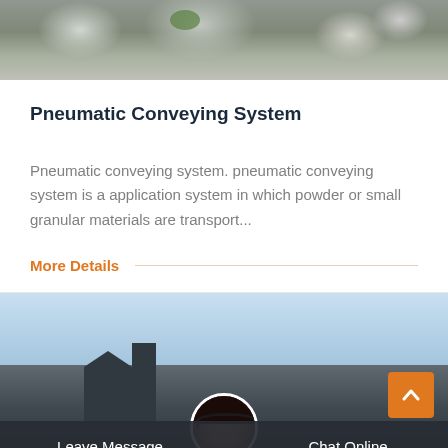[Figure (photo): Top portion of a rocky/gravel landscape photo with some green vegetation]
Pneumatic Conveying System
Pneumatic conveying system. pneumatic conveying system is a application system in which powder or small granular materials are transport...
More Details
[Figure (photo): Bottom photo showing industrial machinery/equipment against a blue sky, with a customer service representative avatar overlay and a chat bar at the bottom with Leave Message and Chat Online options]